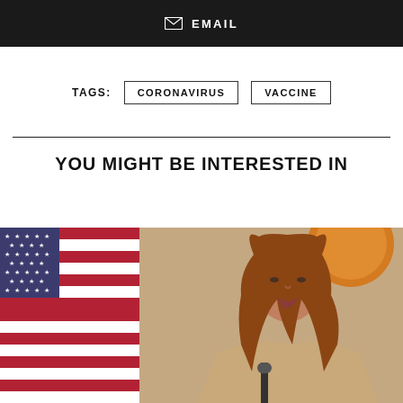EMAIL
TAGS: CORONAVIRUS VACCINE
YOU MIGHT BE INTERESTED IN
[Figure (photo): A woman with long reddish-brown hair speaking at a microphone podium, wearing a beige blazer over a dark top. An American flag is visible to her left, and an orange circular seal/emblem is visible in the upper right background. The setting appears to be an official press briefing or government event.]